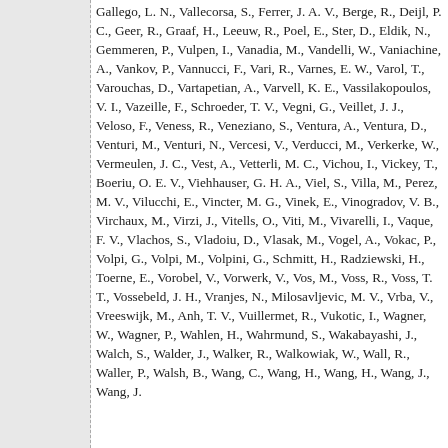Gallego, L. N., Vallecorsa, S., Ferrer, J. A. V., Berge, R., Deijl, P. C., Geer, R., Graaf, H., Leeuw, R., Poel, E., Ster, D., Eldik, N., Gemmeren, P., Vulpen, I., Vanadia, M., Vandelli, W., Vaniachine, A., Vankov, P., Vannucci, F., Vari, R., Varnes, E. W., Varol, T., Varouchas, D., Vartapetian, A., Varvell, K. E., Vassilakopoulos, V. I., Vazeille, F., Schroeder, T. V., Vegni, G., Veillet, J. J., Veloso, F., Veness, R., Veneziano, S., Ventura, A., Ventura, D., Venturi, M., Venturi, N., Vercesi, V., Verducci, M., Verkerke, W., Vermeulen, J. C., Vest, A., Vetterli, M. C., Vichou, I., Vickey, T., Boeriu, O. E. V., Viehhauser, G. H. A., Viel, S., Villa, M., Perez, M. V., Vilucchi, E., Vincter, M. G., Vinek, E., Vinogradov, V. B., Virchaux, M., Virzi, J., Vitells, O., Viti, M., Vivarelli, I., Vaque, F. V., Vlachos, S., Vladoiu, D., Vlasak, M., Vogel, A., Vokac, P., Volpi, G., Volpi, M., Volpini, G., Schmitt, H., Radziewski, H., Toerne, E., Vorobel, V., Vorwerk, V., Vos, M., Voss, R., Voss, T. T., Vossebeld, J. H., Vranjes, N., Milosavljevic, M. V., Vrba, V., Vreeswijk, M., Anh, T. V., Vuillermet, R., Vukotic, I., Wagner, W., Wagner, P., Wahlen, H., Wahrmund, S., Wakabayashi, J., Walch, S., Walder, J., Walker, R., Walkowiak, W., Wall, R., Waller, P., Walsh, B., Wang, C., Wang, H., Wang, H., Wang, J., Wang, J.